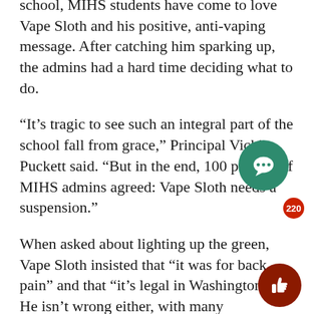school, MIHS students have come to love Vape Sloth and his positive, anti-vaping message. After catching him sparking up, the admins had a hard time deciding what to do.
“It's tragic to see such an integral part of the school fall from grace,” Principal Vicki Puckett said. “But in the end, 100 percent of MIHS admins agreed: Vape Sloth needs a suspension.”
When asked about lighting up the green, Vape Sloth insisted that “it was for back pain” and that “it’s legal in Washington.” He isn’t wrong either, with many Washington residents as well as those in other states that benefit from medical marijuana often smoking cannabis and related products like thc juul pods to alleviate pain, insomnia, depressive states and much more.
A